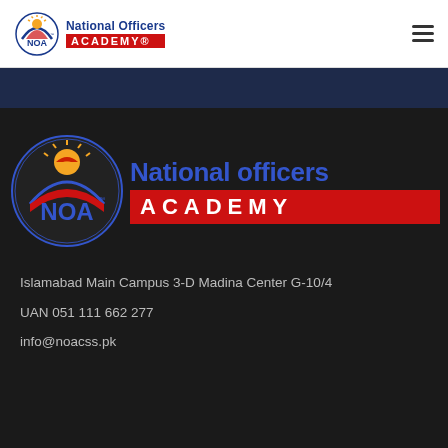[Figure (logo): National Officers Academy logo in navbar — circular NOA emblem with sun/arch design and text 'National Officers ACADEMY' in blue and red]
[Figure (logo): Large National Officers Academy logo — circular NOA emblem with sun/arch design and large text 'National officers ACADEMY' in blue and red on dark background]
Islamabad Main Campus 3-D Madina Center G-10/4
UAN 051 111 662 277
info@noacss.pk